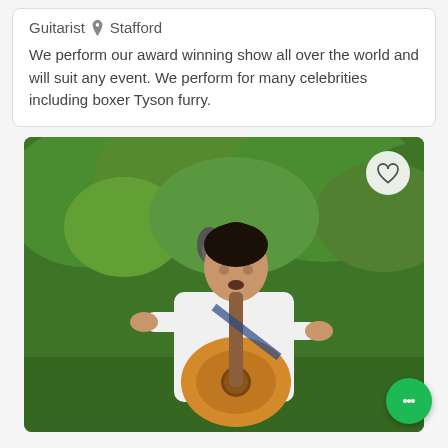Guitarist  Stafford
We perform our award winning show all over the world and will suit any event. We perform for many celebrities including boxer Tyson furry.
[Figure (photo): A young man in a white shirt and red tie playing an acoustic guitar at a microphone stand, performing outdoors with green trees in the background. A heart/favorite button is visible in the top right corner of the photo.]